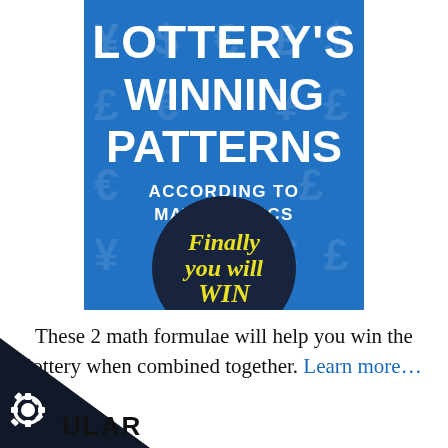[Figure (illustration): Book cover for 'Lottery's Winning Patterns According to Mathematics' with blue background, currency symbols pattern, large white bold text, and a dark circle badge with yellow italic text 'Finally you will WIN']
These 2 math formulae will help you win the lottery when combined together. Learn more…
[Figure (logo): Dark triangle in bottom-left corner with a white cog/gear icon and partial text 'ULAR' visible (part of 'POPULAR')]